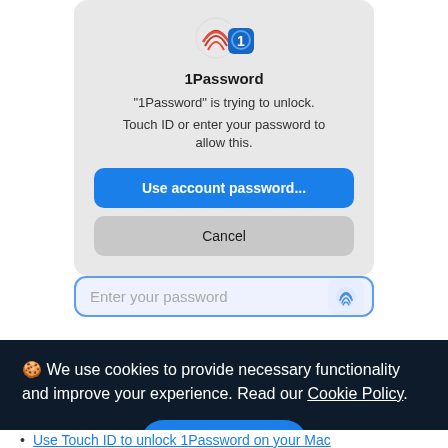[Figure (screenshot): macOS system dialog for 1Password app requesting Touch ID or password to unlock. Shows app icon (fingerprint + 1Password shield), title '1Password', subtitle '"1Password" is trying to unlock.', body text 'Touch ID or enter your password to allow this.', a blue 'Use account password...' button, and a gray 'Cancel' button.]
[Figure (screenshot): Password input field with placeholder text 'Enter your password' and a fingerprint/Touch ID icon on the right side. Field has blue border indicating focus.]
🍪 We use cookies to provide necessary functionality and improve your experience. Read our Cookie Policy.
OK
Use Touch ID to unlock 1Password on your Mac